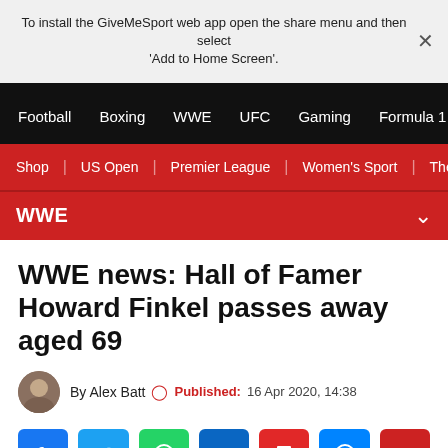To install the GiveMeSport web app open the share menu and then select 'Add to Home Screen'.
Football  Boxing  WWE  UFC  Gaming  Formula 1
Shop | US Open | Premier League | Women's Sport | The Fo
WWE
WWE news: Hall of Famer Howard Finkel passes away aged 69
By Alex Batt  Published: 16 Apr 2020, 14:38